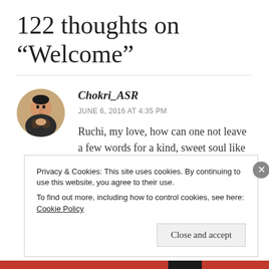122 thoughts on “Welcome”
Chokri_ASR
JUNE 6, 2016 AT 4:35 PM
Ruchi, my love, how can one not leave a few words for a kind, sweet soul like you. You bring
Privacy & Cookies: This site uses cookies. By continuing to use this website, you agree to their use.
To find out more, including how to control cookies, see here: Cookie Policy
Close and accept